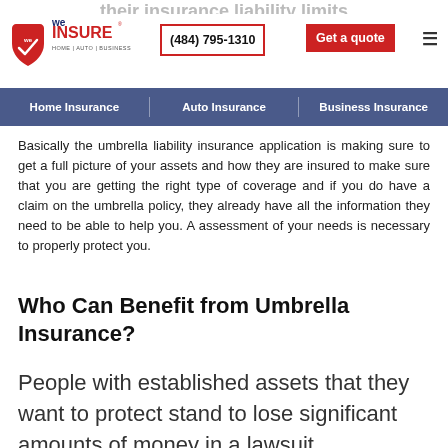their insurance liability limits
[Figure (logo): We Insure logo with tagline HOME | AUTO | BUSINESS]
(484) 795-1310  Get a quote
Home Insurance | Auto Insurance | Business Insurance
Basically the umbrella liability insurance application is making sure to get a full picture of your assets and how they are insured to make sure that you are getting the right type of coverage and if you do have a claim on the umbrella policy, they already have all the information they need to be able to help you. A assessment of your needs is necessary to properly protect you.
Who Can Benefit from Umbrella Insurance?
People with established assets that they want to protect stand to lose significant amounts of money in a lawsuit.